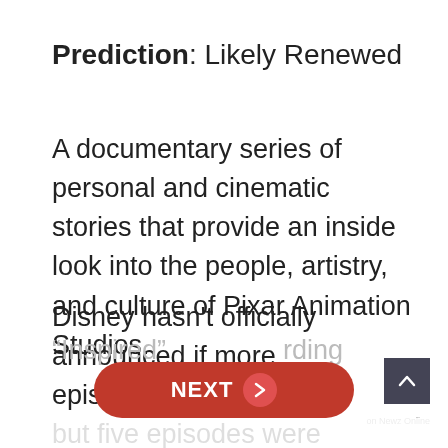Prediction: Likely Renewed
A documentary series of personal and cinematic stories that provide an inside look into the people, artistry, and culture of Pixar Animation Studios.
Disney hasn't officially announced if more episodes will be coming but five episodes were released as part of a